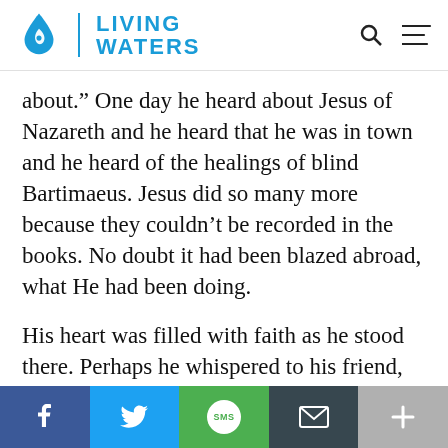[Figure (logo): Living Waters logo: blue water drop icon with leaf, vertical divider, bold blue text LIVING WATERS]
about.” One day he heard about Jesus of Nazareth and he heard that he was in town and he heard of the healings of blind Bartimaeus. Jesus did so many more because they couldn’t be recorded in the books. No doubt it had been blazed abroad, what He had been doing.
His heart was filled with faith as he stood there. Perhaps he whispered to his friend, “Is it really Him?” His friend said, “Yeah
[Figure (infographic): Social share bar with five buttons: Facebook (dark blue, f icon), Twitter (light blue, bird icon), SMS (green, SMS circle icon), Email (dark grey, envelope icon), More (grey, plus icon)]